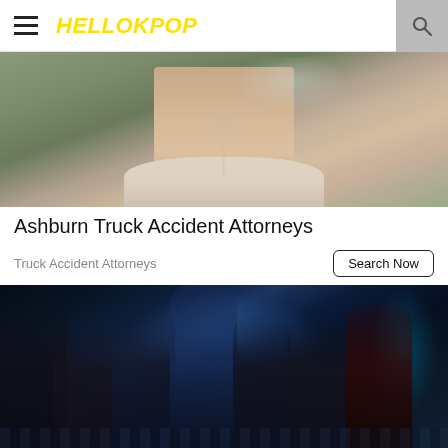HELLOKPOP
[Figure (photo): Close-up photo of a person's neck and upper chest wearing a light-colored top with a thin necklace, blurred green background]
Ashburn Truck Accident Attorneys
Truck Accident Attorneys
[Figure (photo): Group photo of a K-pop group (appears to be GOT7 or similar) posing in dark industrial setting with blue/cyan lighting, wearing streetwear in black and red]